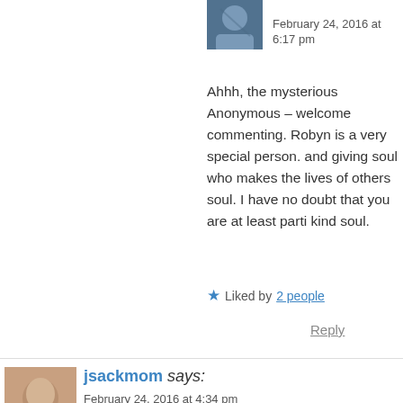[Figure (photo): Small avatar photo showing a dark blue/grey outdoor scene, partially cropped at top]
February 24, 2016 at 6:17 pm
Ahhh, the mysterious Anonymous – welcome commenting. Robyn is a very special person. and giving soul who makes the lives of others soul. I have no doubt that you are at least parti kind soul.
Liked by 2 people
Reply
[Figure (photo): Small avatar photo of a person with light background]
jsackmom says: February 24, 2016 at 4:34 pm
I really enjoyed this story Paul. I was intrigued to find internet went away. I had seen CM's post and OM pick search and rescue to see what happened. I followed alo like me and then knew Linda Hill was able to knock on